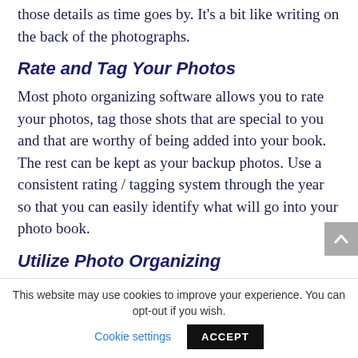those details as time goes by. It’s a bit like writing on the back of the photographs.
Rate and Tag Your Photos
Most photo organizing software allows you to rate your photos, tag those shots that are special to you and that are worthy of being added into your book.  The rest can be kept as your backup photos. Use a consistent rating / tagging system through the year so that you can easily identify what will go into your photo book.
Utilize Photo Organizing
This website may use cookies to improve your experience. You can opt-out if you wish. Cookie settings ACCEPT